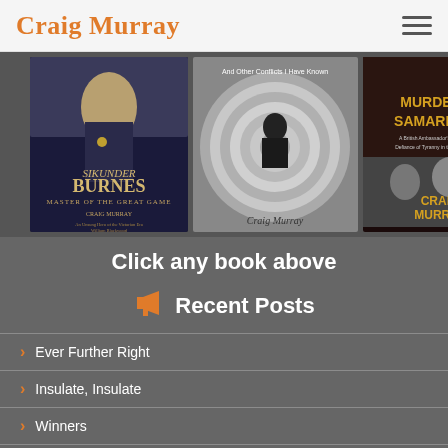Craig Murray
[Figure (photo): Three book covers displayed side by side: 'Sikunder Burnes: Master of the Great Game' by Craig Murray (left), a middle book about conflicts with spiral/vortex cover image by Craig Murray, and 'Murder in Samarkand' by Craig Murray (right, dark cover with gold title text).]
Click any book above
Recent Posts
Ever Further Right
Insulate, Insulate
Winners
Freedom of Speech and Graham Phillips
Pre-Emptive Murder
Independence, Justice and the Unionist Lord Advocate